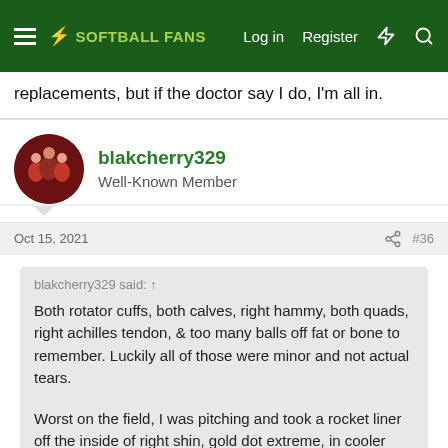☰ ⚡ SOFTBALL FANS   Log in   Register   ⚡   🔍
replacements, but if the doctor say I do, I'm all in.
blakcherry329
Well-Known Member
Oct 15, 2021   #36
blakcherry329 said: ↑
Both rotator cuffs, both calves, right hammy, both quads, right achilles tendon, & too many balls off fat or bone to remember. Luckily all of those were minor and not actual tears.

Worst on the field, I was pitching and took a rocket liner off the inside of right shin, gold dot extreme, in cooler weather. Woke the next day and my entire leg and foot was almost black/blood colored. 3 weeks later I took a middle shot off the exact same spot, and blew the shin
Lol, yeah, I didn't even mention all the balls off of my shins and side, stomach, and arms while pitching or playin 1b/3b. Never